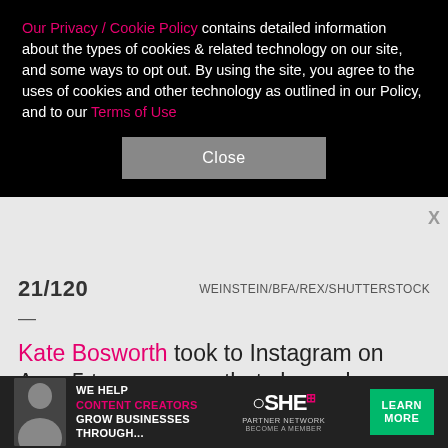Our Privacy / Cookie Policy contains detailed information about the types of cookies & related technology on our site, and some ways to opt out. By using the site, you agree to the uses of cookies and other technology as outlined in our Policy, and to our Terms of Use
Close
21/120    WEINSTEIN/BFA/REX/SHUTTERSTOCK
—
Kate Bosworth took to Instagram on Aug. 5 to announce that she and filmmaker Michael Polish have separated after nearly eight years of marriage. The "Blue Crush" actress shared a thoughtful and poetic explanation alongside a photo of herself kissing the "Big Sur" and "Twin Falls Idaho" director. "The beginning is often the best part of love. Fireworks, magnets, rebellion — the
[Figure (photo): Advertisement banner for SHE Media Partner Network: 'We help content creators grow businesses through...' with Learn More button]